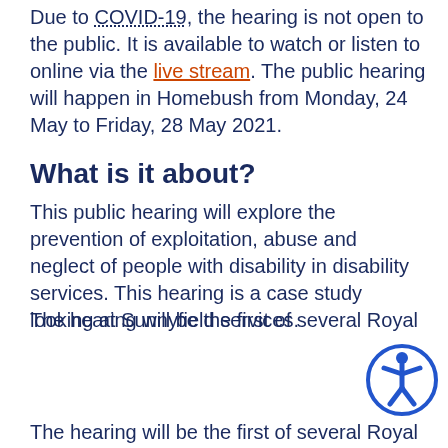Due to COVID-19, the hearing is not open to the public. It is available to watch or listen to online via the live stream. The public hearing will happen in Homebush from Monday, 24 May to Friday, 28 May 2021.
What is it about?
This public hearing will explore the prevention of exploitation, abuse and neglect of people with disability in disability services. This hearing is a case study looking at Sunnyfield services.
[Figure (illustration): Blue circle accessibility icon showing a person with arms and legs spread outward]
The hearing will be the first of several Royal